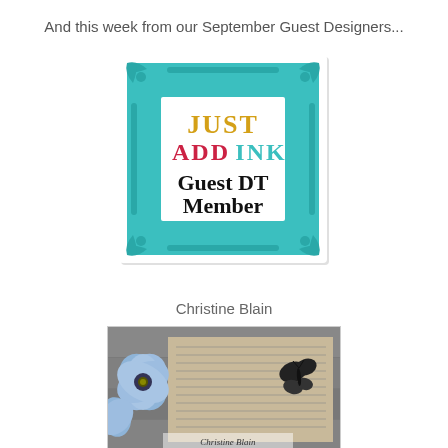And this week from our September Guest Designers...
[Figure (illustration): Just Add Ink Guest DT Member badge inside a teal/turquoise decorative frame. The badge shows 'JUST' in yellow serif, 'ADD' in pink/red serif, 'INK' in teal serif, and 'Guest DT Member' in black handwritten style.]
Christine Blain
[Figure (photo): Craft project by Christine Blain showing blue paper flowers and a butterfly embellishment on a distressed background with text. Christine Blain watermark at bottom.]